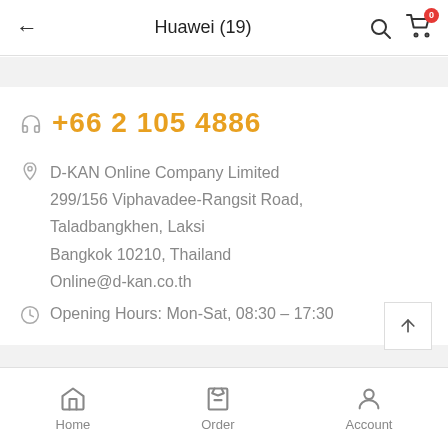Huawei (19)
+66 2 105 4886
D-KAN Online Company Limited
299/156 Viphavadee-Rangsit Road,
Taladbangkhen, Laksi
Bangkok 10210, Thailand
Online@d-kan.co.th
Opening Hours: Mon-Sat, 08:30 - 17:30
Home   Order   Account